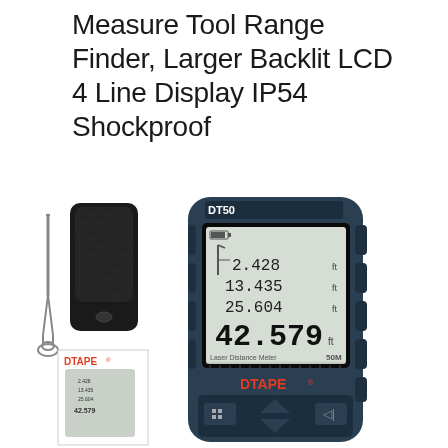Measure Tool Range Finder, Larger Backlit LCD 4 Line Display IP54 Shockproof
[Figure (photo): Product photo showing a DTAPE DT50 laser distance meter (range finder) with wrist strap and carrying pouch on the left, a small inset image showing the device with DTAPE branding, and the main device on the right displaying measurements 2.428 ft, 13.435 ft, 25.604 ft, 42.579 ft on a backlit LCD screen. The device is labeled 'Laser Distance Meter 50M' and 'DTAPE' in red lettering.]